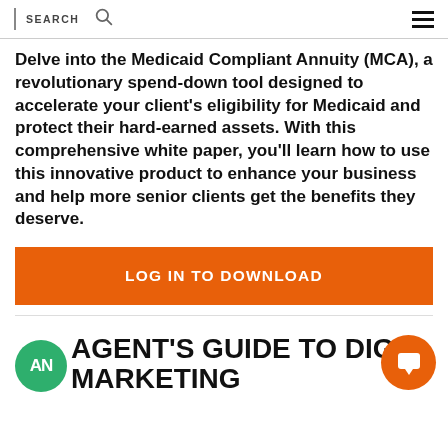SEARCH
Delve into the Medicaid Compliant Annuity (MCA), a revolutionary spend-down tool designed to accelerate your client’s eligibility for Medicaid and protect their hard-earned assets. With this comprehensive white paper, you’ll learn how to use this innovative product to enhance your business and help more senior clients get the benefits they deserve.
LOG IN TO DOWNLOAD
AN AGENT’S GUIDE TO DIGITAL MARKETING